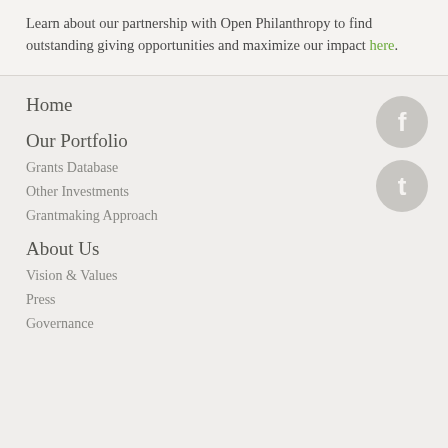Learn about our partnership with Open Philanthropy to find outstanding giving opportunities and maximize our impact here.
Home
Our Portfolio
Grants Database
Other Investments
Grantmaking Approach
About Us
Vision & Values
Press
Governance